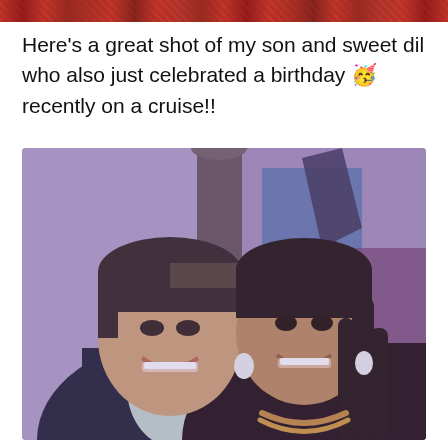[Figure (photo): Top banner with red floral/decorative pattern strip]
Here's a great shot of my son and sweet dil who also just celebrated a birthday 🥳 recently on a cruise!!
[Figure (photo): A couple posing together smiling for a selfie on a cruise. The man on the left has short dark hair and wears a dark blazer with a light shirt. The woman on the right has long braided hair, white earrings, and wears a dark off-shoulder top with a beaded necklace. Background shows colorful geometric wall art.]